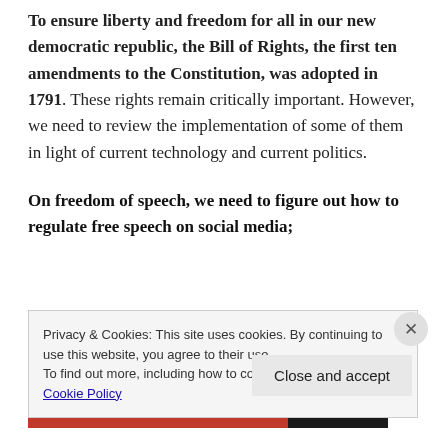To ensure liberty and freedom for all in our new democratic republic, the Bill of Rights, the first ten amendments to the Constitution, was adopted in 1791. These rights remain critically important. However, we need to review the implementation of some of them in light of current technology and current politics.
On freedom of speech, we need to figure out how to regulate free speech on social media;
Privacy & Cookies: This site uses cookies. By continuing to use this website, you agree to their use.
To find out more, including how to control cookies, see here:
Cookie Policy
Close and accept